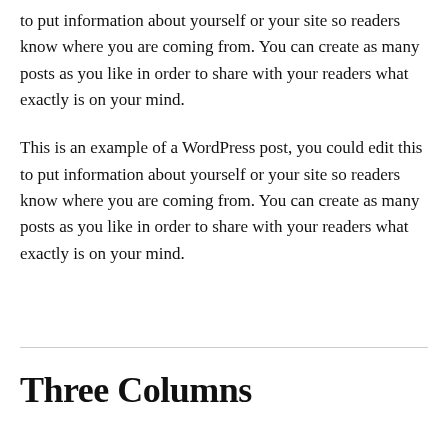to put information about yourself or your site so readers know where you are coming from. You can create as many posts as you like in order to share with your readers what exactly is on your mind.
This is an example of a WordPress post, you could edit this to put information about yourself or your site so readers know where you are coming from. You can create as many posts as you like in order to share with your readers what exactly is on your mind.
Three Columns